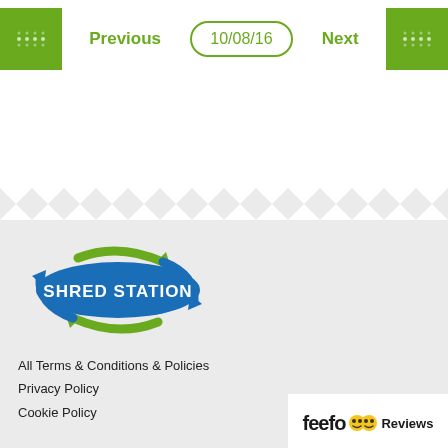[Figure (infographic): Navigation bar with Previous and Next green buttons, and a date badge showing 10/08/16 in the center]
[Figure (logo): Shred Station logo with blue oval background and green recycling arrows]
All Terms & Conditions & Policies
Privacy Policy
Cookie Policy
[Figure (logo): Feefo Reviews badge with yellow smiley icons]